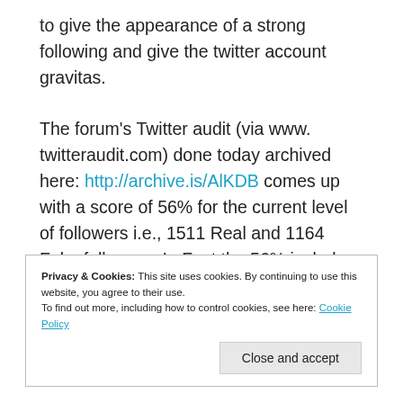to give the appearance of a strong following and give the twitter account gravitas.
The forum's Twitter audit (via www. twitteraudit.com) done today archived here: http://archive.is/AlKDB comes up with a score of 56% for the current level of followers i.e., 1511 Real and 1164 Fake followers. In Fact the 56% includes a substantial 'not sure' result that indicates inactive or fake followers.
Privacy & Cookies: This site uses cookies. By continuing to use this website, you agree to their use. To find out more, including how to control cookies, see here: Cookie Policy